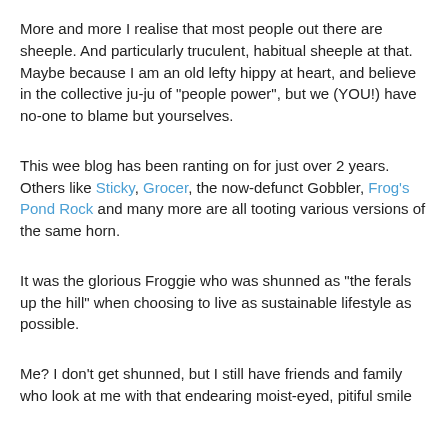More and more I realise that most people out there are sheeple. And particularly truculent, habitual sheeple at that. Maybe because I am an old lefty hippy at heart, and believe in the collective ju-ju of "people power", but we (YOU!) have no-one to blame but yourselves.
This wee blog has been ranting on for just over 2 years. Others like Sticky, Grocer, the now-defunct Gobbler, Frog's Pond Rock and many more are all tooting various versions of the same horn.
It was the glorious Froggie who was shunned as "the ferals up the hill" when choosing to live as sustainable lifestyle as possible.
Me? I don't get shunned, but I still have friends and family who look at me with that endearing moist-eyed, pitiful smile